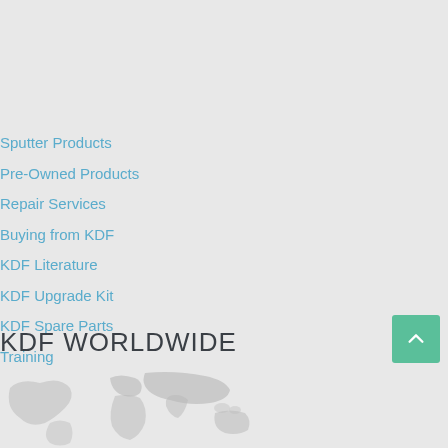Sputter Products
Pre-Owned Products
Repair Services
Buying from KDF
KDF Literature
KDF Upgrade Kit
KDF Spare Parts
Training
KDF WORLDWIDE
[Figure (map): World map shown partially at the bottom of the page in light grey tones]